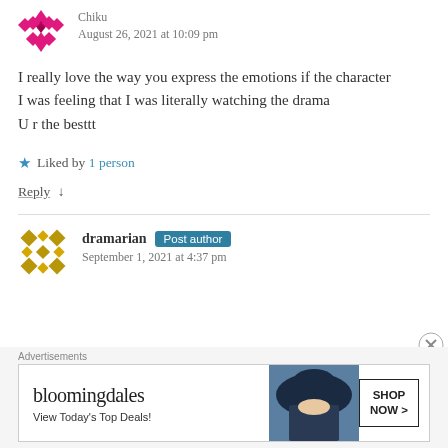[Figure (illustration): Pink/magenta geometric avatar icon for user Chiku]
Chiku
August 26, 2021 at 10:09 pm
I really love the way you express the emotions if the character
I was feeling that I was literally watching the drama
U r the besttt
★ Liked by 1 person
Reply ↓
[Figure (illustration): Gold/yellow geometric avatar icon for user dramarian]
dramarian Post author
September 1, 2021 at 4:37 pm
Advertisements
[Figure (other): Bloomingdale's advertisement banner: View Today's Top Deals! SHOP NOW >]